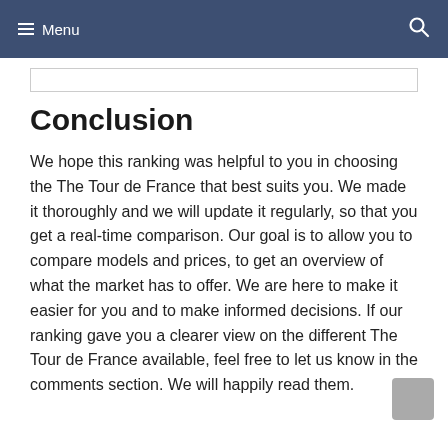☰ Menu
Conclusion
We hope this ranking was helpful to you in choosing the The Tour de France that best suits you. We made it thoroughly and we will update it regularly, so that you get a real-time comparison. Our goal is to allow you to compare models and prices, to get an overview of what the market has to offer. We are here to make it easier for you and to make informed decisions. If our ranking gave you a clearer view on the different The Tour de France available, feel free to let us know in the comments section. We will happily read them.